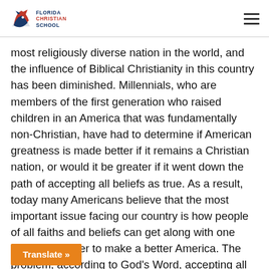Florida Christian School
most religiously diverse nation in the world, and the influence of Biblical Christianity in this country has been diminished. Millennials, who are members of the first generation who raised children in an America that was fundamentally non-Christian, have had to determine if American greatness is made better if it remains a Christian nation, or would it be greater if it went down the path of accepting all beliefs as true. As a result, today many Americans believe that the most important issue facing our country is how people of all faiths and beliefs can get along with one another in order to make a better America. The problem, according to God's Word, accepting all religions as truth will lead a nation to its destruction. The concept of... the United States of America under